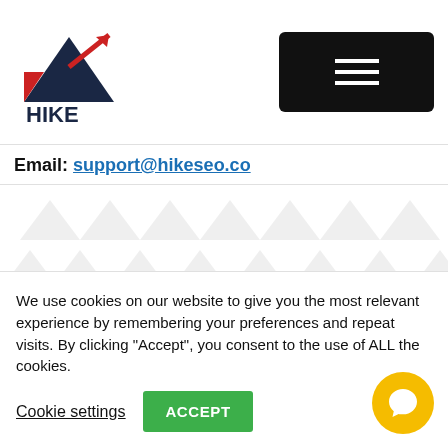[Figure (logo): HIKE SEO logo with house/mountain and upward arrow graphic in dark blue and red]
Email: support@hikeseo.co
Products
SEO Features
We use cookies on our website to give you the most relevant experience by remembering your preferences and repeat visits. By clicking "Accept", you consent to the use of ALL the cookies.
Cookie settings   ACCEPT